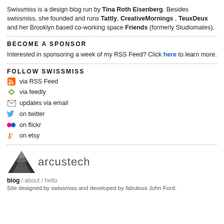Swissmiss is a design blog run by Tina Roth Eisenberg. Besides swissmiss, she founded and runs Tattly, CreativeMornings , TeuxDeux and her Brooklyn based co-working space Friends (formerly Studiomates).
BECOME A SPONSOR
Interested in sponsoring a week of my RSS Feed? Click here to learn more.
FOLLOW SWISSMISS
via RSS Feed
via feedly
updates via email
on twitter
on flickr
on etsy
[Figure (logo): Arcustech logo: dark mountain/tent icon with text 'arcustech' in grey]
blog / about / hello
Site designed by swissmiss and developed by fabulous John Ford.